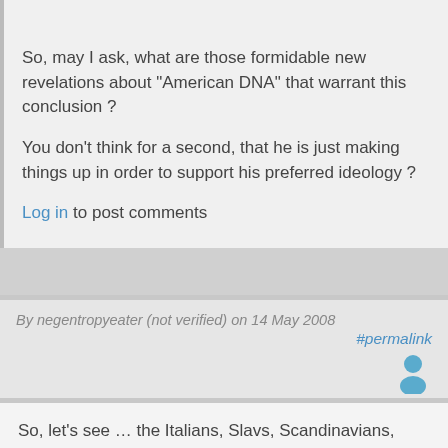So, may I ask, what are those formidable new revelations about "American DNA" that warrant this conclusion ?
You don't think for a second, that he is just making things up in order to support his preferred ideology ?
Log in to post comments
By negentropyeater (not verified) on 14 May 2008
#permalink
[Figure (illustration): User avatar icon – blue silhouette of a person]
So, let's see … the Italians, Slavs, Scandinavians, Irish, Germans, Jews, Chinese, Japanese, Koreans, Lebanese, South Asians, and various other populations that were the source of considerable amounts of voluntary immigration